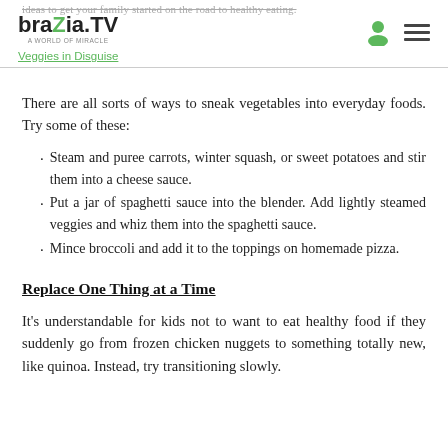ideas to get your family started on the road to healthy eating. braZia.TV | Veggies in Disguise
There are all sorts of ways to sneak vegetables into everyday foods. Try some of these:
Steam and puree carrots, winter squash, or sweet potatoes and stir them into a cheese sauce.
Put a jar of spaghetti sauce into the blender. Add lightly steamed veggies and whiz them into the spaghetti sauce.
Mince broccoli and add it to the toppings on homemade pizza.
Replace One Thing at a Time
It's understandable for kids not to want to eat healthy food if they suddenly go from frozen chicken nuggets to something totally new, like quinoa. Instead, try transitioning slowly.